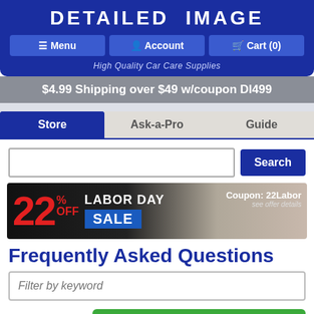DETAILED IMAGE
Menu   Account   Cart (0)
High Quality Car Care Supplies
$4.99 Shipping over $49 w/coupon DI499
Store   Ask-a-Pro   Guide
[Figure (screenshot): Search bar with Search button and Labor Day Sale banner: 22% OFF LABOR DAY SALE, Coupon: 22Labor, see offer details]
Frequently Asked Questions
Filter by keyword
Ordering
My Offers